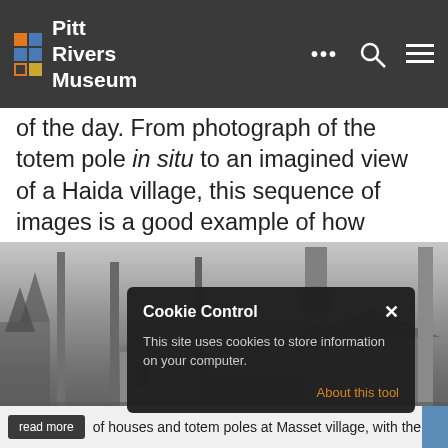Pitt Rivers Museum
of the day. From photograph of the totem pole in situ to an imagined view of a Haida village, this sequence of images is a good example of how knowledge was constructed – and also how it could be changed – in the early part of the last century.
[Figure (photo): Black and white photograph of houses and totem poles at Masset village with the frontal view, partially obscured by a cookie consent dialog overlay.]
read more ... of houses and totem poles at Masset village, with the frontal
Cookie Control
This site uses cookies to store information on your computer.
About this tool